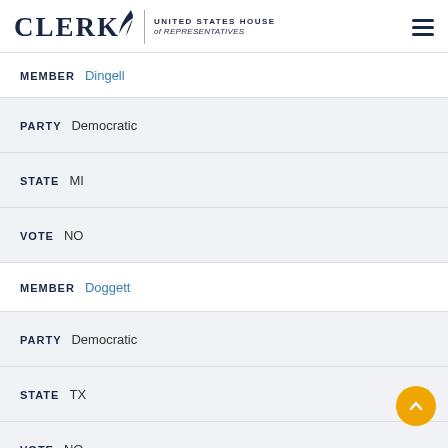CLERK | UNITED STATES HOUSE of REPRESENTATIVES
MEMBER Dingell
PARTY Democratic
STATE MI
VOTE NO
MEMBER Doggett
PARTY Democratic
STATE TX
VOTE NO